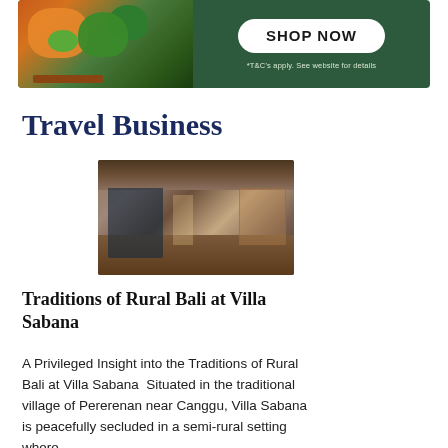[Figure (photo): Green background banner advertisement with food image on left (vegetables, broccoli, carrots) and a white 'SHOP NOW' button with text '*T&C's apply. See website for details' on the right.]
Travel Business
[Figure (photo): Interior photo of Villa Sabana showing a traditional Balinese open-air living area with wooden architecture, thatched roof, and rustic decor.]
Traditions of Rural Bali at Villa Sabana
A Privileged Insight into the Traditions of Rural Bali at Villa Sabana  Situated in the traditional village of Pererenan near Canggu, Villa Sabana is peacefully secluded in a semi-rural setting where…